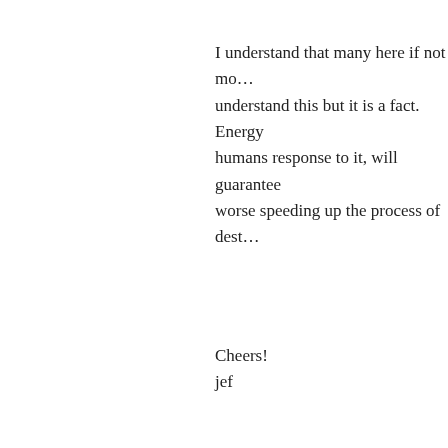I understand that many here if not mo… understand this but it is a fact. Energy… humans response to it, will guarantee… worse speeding up the process of dest…
Cheers!
jef
drb753 says:
May 27, 2022 at 12:12 pm
there is not a lot of oil left, so… that there are people growing… count for something, since C… greater rate than native plant… pumping biomass at a great r…